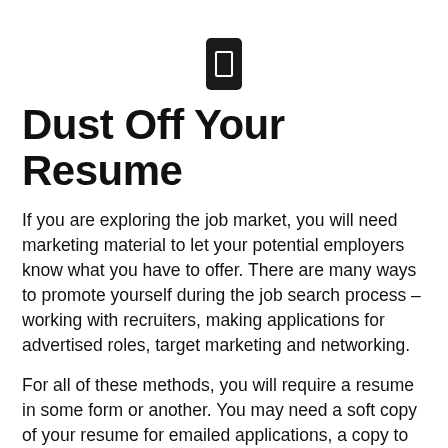[Figure (illustration): Small black rounded rectangle icon resembling a mobile phone or document, centered near the top of the page]
Dust Off Your Resume
If you are exploring the job market, you will need marketing material to let your potential employers know what you have to offer.  There are many ways to promote yourself during the job search process – working with recruiters, making applications for advertised roles, target marketing and networking.
For all of these methods, you will require a resume in some form or another.  You may need a soft copy of your resume for emailed applications, a copy to attach to an internet